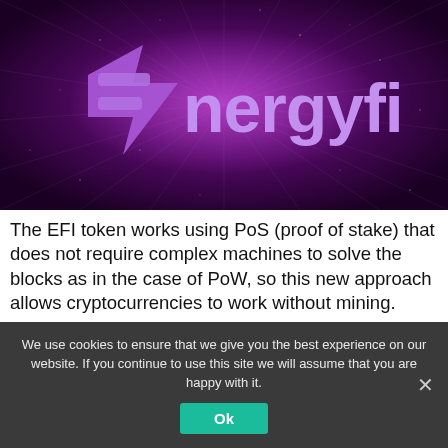[Figure (logo): EnergyFi logo on a dark purple background with a starburst light effect. The logo shows a stylized lightning bolt / 'E' shape in purple/lavender followed by the text 'nergyfi' in light purple, forming 'Energyfi'.]
The EFI token works using PoS (proof of stake) that does not require complex machines to solve the blocks as in the case of PoW, so this new approach allows cryptocurrencies to work without mining.
We use cookies to ensure that we give you the best experience on our website. If you continue to use this site we will assume that you are happy with it.